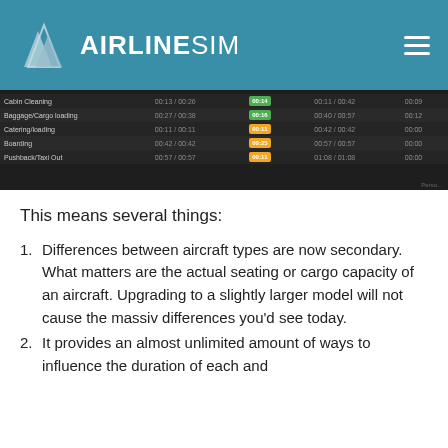AIRLINESIM
[Figure (screenshot): AirlineSim ground handling schedule table showing rows for Cabin Cleaning, Baggage/Cargo loading, Catering/loading, Boarding, Pushback/Taxi Out with times and colored progress bars (green and orange).]
This means several things:
Differences between aircraft types are now secondary. What matters are the actual seating or cargo capacity of an aircraft. Upgrading to a slightly larger model will not cause the massiv differences you’d see today.
It provides an almost unlimited amount of ways to influence the duration of each and